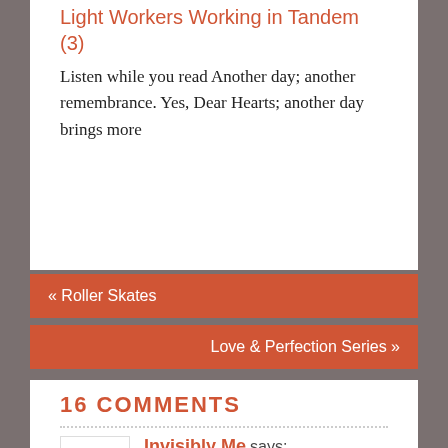Light Workers Working in Tandem (3)
Listen while you read
Another day; another remembrance. Yes, Dear Hearts; another day brings more
« Roller Skates
Love & Perfection Series »
16 COMMENTS
Invisibly Me says:
February 8, 2019 at 4:15 am